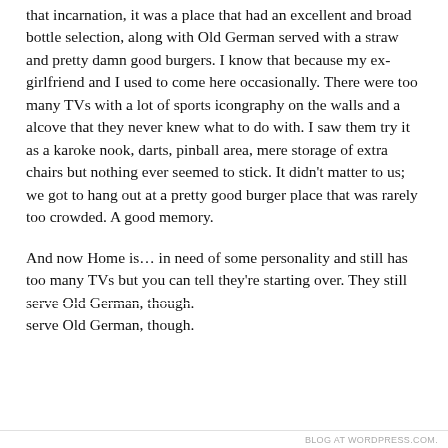that incarnation, it was a place that had an excellent and broad bottle selection, along with Old German served with a straw and pretty damn good burgers. I know that because my ex-girlfriend and I used to come here occasionally. There were too many TVs with a lot of sports icongraphy on the walls and a alcove that they never knew what to do with. I saw them try it as a karoke nook, darts, pinball area, mere storage of extra chairs but nothing ever seemed to stick. It didn't matter to us; we got to hang out at a pretty good burger place that was rarely too crowded. A good memory.
And now Home is… in need of some personality and still has too many TVs but you can tell they're starting over. They still serve Old German, though.
Privacy & Cookies: This site uses cookies. By continuing to use this website, you agree to their use.
To find out more, including how to control cookies, see here: Cookie Policy
Close and accept